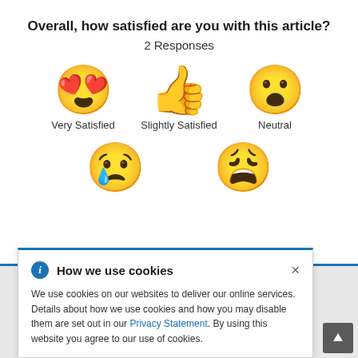Overall, how satisfied are you with this article?
2 Responses
[Figure (infographic): Three emoji options in a row: heart-eyes face (Very Satisfied), thumbs up (Slightly Satisfied), surprised face (Neutral)]
[Figure (infographic): Two emoji options in a row: crying face (Slightly Dissatisfied, partially visible), and tired/dissatisfied face]
[Figure (screenshot): Cookie consent banner overlay with blue info icon, title 'How we use cookies', close X button, body text about cookie usage with Privacy Statement link, and a scroll-to-top arrow button in bottom right corner]